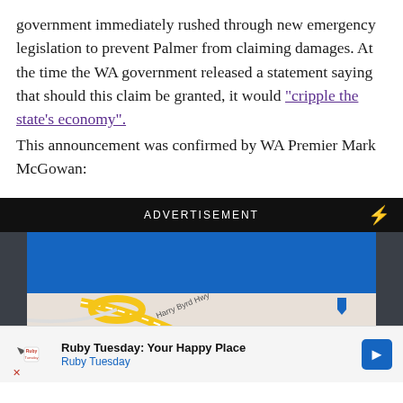government immediately rushed through new emergency legislation to prevent Palmer from claiming damages. At the time the WA government released a statement saying that should this claim be granted, it would "cripple the state's economy".
This announcement was confirmed by WA Premier Mark McGowan:
[Figure (screenshot): Advertisement banner showing 'ADVERTISEMENT' header with a lightning bolt icon, a blue rectangle above a Google Maps screenshot showing Harry Byrd Hwy, Texas Roadhouse, Home Goods, and SpringHi locations with a red pin marker. Below is a Ruby Tuesday ad bar with logo, 'Ruby Tuesday: Your Happy Place' text, and a blue arrow button.]